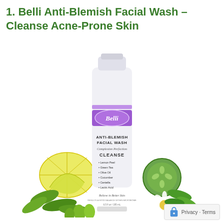1. Belli Anti-Blemish Facial Wash – Cleanse Acne-Prone Skin
[Figure (photo): Product photo of Belli Anti-Blemish Facial Wash tube (white with purple Belli logo label), surrounded by natural ingredients: lemon slices, green tea leaves, olive oil, cucumber, chamomile flowers, and mint leaves on a white background.]